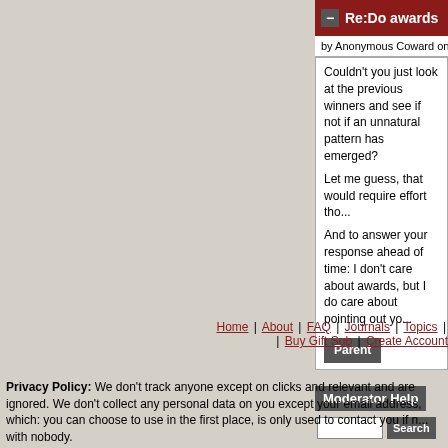Re:Do awards even matter? (s...
by Anonymous Coward on Monday April 13 2015,
Couldn't you just look at the previous winners and see if not if an unnatural pattern has emerged?

Let me guess, that would require effort tho...

And to answer your response ahead of time: I don't care about awards, but I do care about pointing out yo...
Moderator Help
Home | About | FAQ | Journals | Topics | Buy Gift Sub | Create Account
Privacy Policy: We don't track anyone except on clicks and relevant and are ignored. We don't collect any personal data on you except your email address, which: you can choose to use in the first place, is only used to contact you if n... with nobody.